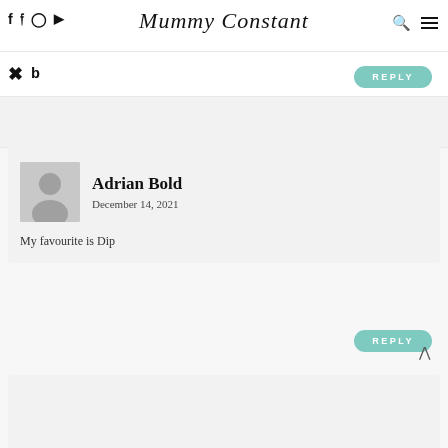Mummy Constant
[Figure (screenshot): Social media icons: Facebook, Twitter, Instagram, YouTube in top left; Pinterest and Bloglovin icons below]
REPLY
Adrian Bold
December 14, 2021
My favourite is Dip
REPLY